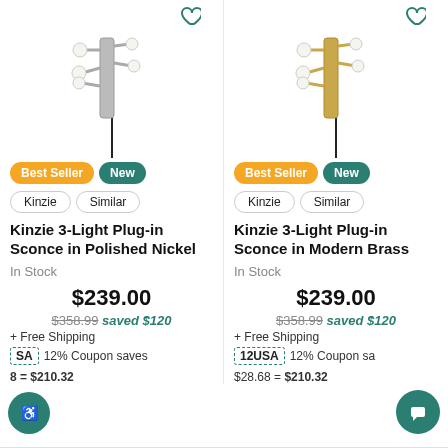[Figure (photo): Kinzie 3-Light Plug-in Sconce in Polished Nickel product image, wall sconce with multiple bulbs on silver/nickel fixture with black cord]
[Figure (photo): Kinzie 3-Light Plug-in Sconce in Modern Brass product image, wall sconce with multiple bulbs on brass/gold fixture with black cord]
Best Seller
New
Kinzie
Similar
Kinzie 3-Light Plug-in Sconce in Polished Nickel
In Stock
$239.00
$358.99 saved $120
+ Free Shipping
12USA 12% Coupon saves $28.68 = $210.32
Best Seller
New
Kinzie
Similar
Kinzie 3-Light Plug-in Sconce in Modern Brass
In Stock
$239.00
$358.99 saved $120
+ Free Shipping
12USA 12% Coupon saves $28.68 = $210.32